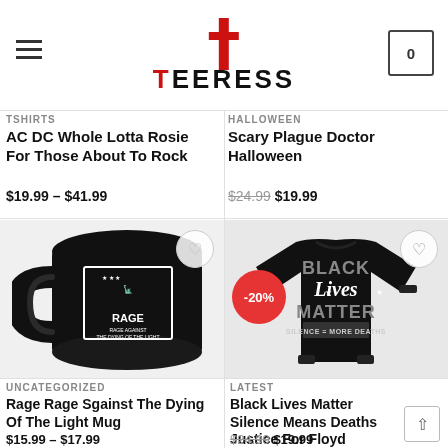Teeress — hamburger menu, logo, cart (0)
TSHIRTS
AC DC Whole Lotta Rosie For Those About To Rock
$19.99 – $41.99
HALLOWEEN
Scary Plague Doctor Halloween
$24.99  $19.99
[Figure (photo): Black coffee mug with white Rage Against the Dying of the Light / Statue of Liberty design]
[Figure (photo): Black long-sleeve shirt with Black Lives Matter Silence = More Deaths design, -20% sale badge]
UNCATEGORIZED
Rage Rage Sgainst The Dying Of The Light Mug
$15.99 – $17.99
LATEST
Black Lives Matter Silence Means Deaths Justice For Floyd
$24.99  $19.99